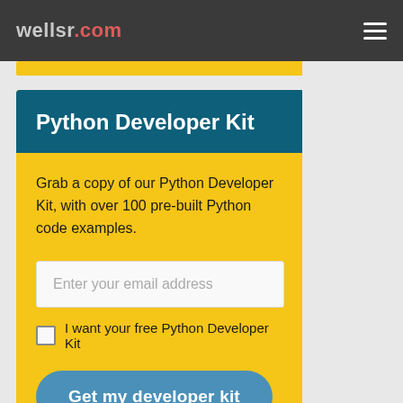wellsr.com
Python Developer Kit
Grab a copy of our Python Developer Kit, with over 100 pre-built Python code examples.
Enter your email address
I want your free Python Developer Kit
Get my developer kit